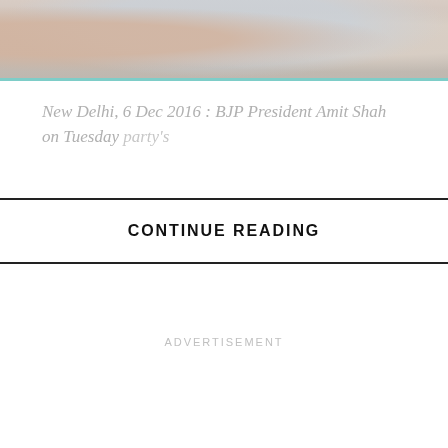[Figure (photo): A photo strip at the top of the page showing people and objects, partially cropped. Appears to be a news article image.]
New Delhi, 6 Dec 2016 : BJP President Amit Shah on Tuesday [text continues, partially obscured] party's [text continues]
CONTINUE READING
ADVERTISEMENT